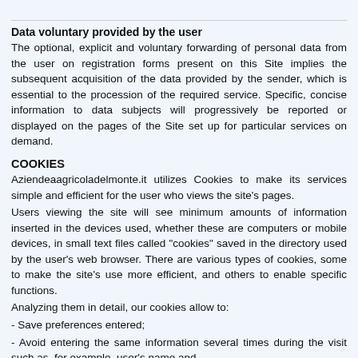Data voluntary provided by the user
The optional, explicit and voluntary forwarding of personal data from the user on registration forms present on this Site implies the subsequent acquisition of the data provided by the sender, which is essential to the procession of the required service. Specific, concise information to data subjects will progressively be reported or displayed on the pages of the Site set up for particular services on demand.
COOKIES
Aziendeaagricoladelmonte.it utilizes Cookies to make its services simple and efficient for the user who views the site’s pages.
Users viewing the site will see minimum amounts of information inserted in the devices used, whether these are computers or mobile devices, in small text files called “cookies” saved in the directory used by the user’s web browser. There are various types of cookies, some to make the site’s use more efficient, and others to enable specific functions.
Analyzing them in detail, our cookies allow to:
- Save preferences entered;
- Avoid entering the same information several times during the visit such as, for example, user’s name and